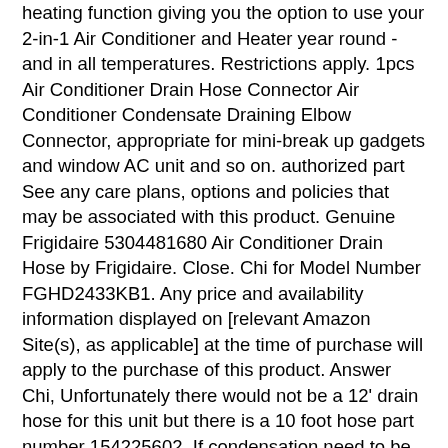heating function giving you the option to use your 2-in-1 Air Conditioner and Heater year round - and in all temperatures. Restrictions apply. 1pcs Air Conditioner Drain Hose Connector Air Conditioner Condensate Draining Elbow Connector, appropriate for mini-break up gadgets and window AC unit and so on. authorized part See any care plans, options and policies that may be associated with this product. Genuine Frigidaire 5304481680 Air Conditioner Drain Hose by Frigidaire. Close. Chi for Model Number FGHD2433KB1. Any price and availability information displayed on [relevant Amazon Site(s), as applicable] at the time of purchase will apply to the purchase of this product. Answer Chi, Unfortunately there would not be a 12' drain hose for this unit but there is a 10 foot hose part number 154225602. If condensation need to be directed, window air conditioners have a key hole drain in the bottom of the unit where one could connect a ½â drain hose for safe disposal of excess system water. Frigidaire FRS093LW12 Air Conditioner. Whether itâ s an air cooler, standing air conditioner or HVAC system, Loweâ s offers a wide selection of some of the best air conditioners â including Amana air conditioners â to ensure that when temperatures outside rise, you stay cool inside.